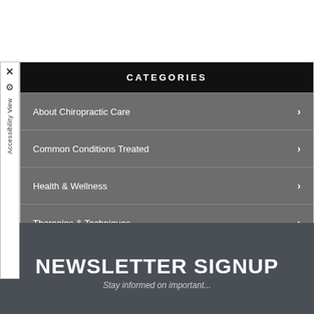CATEGORIES
About Chiropractic Care
Common Conditions Treated
Health & Wellness
Therapies & Techniques
Newsletter Library
Wellness4Kids
NEWSLETTER SIGNUP
Stay informed on important...